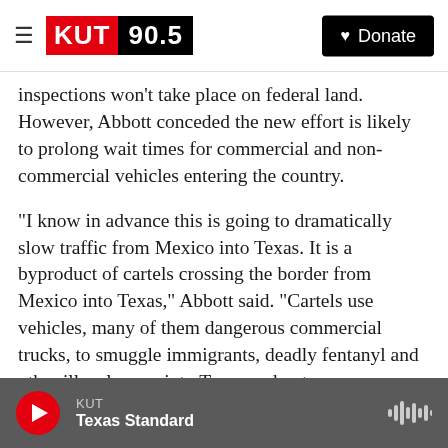KUT 90.5 | Donate
inspections won't take place on federal land. However, Abbott conceded the new effort is likely to prolong wait times for commercial and non-commercial vehicles entering the country.
"I know in advance this is going to dramatically slow traffic from Mexico into Texas. It is a byproduct of cartels crossing the border from Mexico into Texas," Abbott said. "Cartels use vehicles, many of them dangerous commercial trucks, to smuggle immigrants, deadly fentanyl and other illegal cargo into Texas and onto our roadways."
KUT | Texas Standard